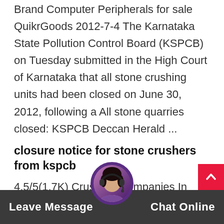Brand Computer Peripherals for sale QuikrGoods 2012-7-4 The Karnataka State Pollution Control Board (KSPCB) on Tuesday submitted in the High Court of Karnataka that all stone crushing units had been closed on June 30, 2012, following a All stone quarries closed: KSPCB Deccan Herald ...
closure notice for stone crushers from kspcb
4,5/5(1,7K) Crushers Companies In Gulbarga. Stone crushing notice alangloverotice to state on stone crushing units ulbarga stone crusher closure notice is issued by kspcb, stone crushers in gulbarga area stone crusher plant in gulbarga stone crushers closure notice is issued by kspcb in sept 2021 3,700 stone crushing units more details closure notice for stone crushers from kspcb at...
[Figure (other): Scroll-to-top button (red square with upward chevron arrow) in the bottom-right area]
[Figure (photo): Circular chat avatar showing a woman wearing a headset, with purple/dark background, positioned at bottom center overlapping the dark bottom bar]
Leave Message   Chat Online